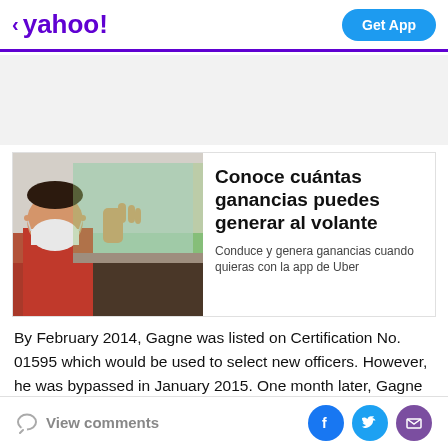< yahoo! | Get App
[Figure (photo): Yahoo news article ad card showing a person wearing a face mask leaning out of a car window, with headline 'Conoce cuántas ganancias puedes generar al volante' and subtext 'Conduce y genera ganancias cuando quieras con la app de Uber']
By February 2014, Gagne was listed on Certification No. 01595 which would be used to select new officers. However, he was bypassed in January 2015. One month later, Gagne passed the civil service examination once again. However, Bowman's decision does not explain why
View comments | Facebook | Twitter | Email